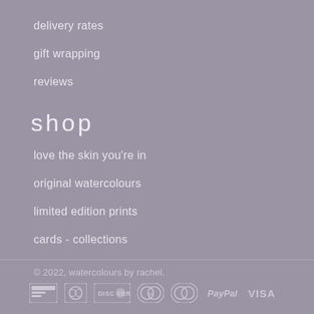delivery rates
gift wrapping
reviews
shop
love the skin you're in
original watercolours
limited edition prints
cards - collections
little birds
© 2022, watercolours by rachel.
[Figure (logo): Payment method logos: American Express, Diners Club, Discover, Maestro, MasterCard, PayPal, VISA]